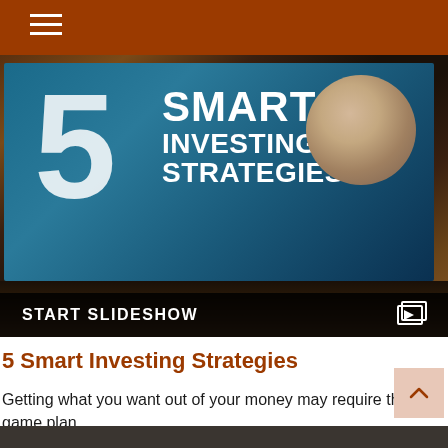Navigation menu bar with hamburger icon
[Figure (screenshot): Screenshot of a tablet displaying '5 SMART INVESTING STRATEGIES' with a family photo circle, shown on a dark wood surface. Below the screen area is a black bar reading 'START SLIDESHOW' with a slideshow icon.]
5 Smart Investing Strategies
Getting what you want out of your money may require the right game plan.